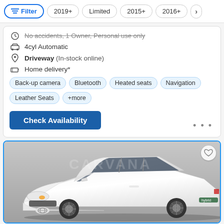Filter | 2019+ | Limited | 2015+ | 2016+ | >
No accidents, 1 Owner, Personal use only
4cyl Automatic
Driveway (In-stock online)
Home delivery*
Back-up camera | Bluetooth | Heated seats | Navigation | Leather Seats | +more
Check Availability
[Figure (photo): White Toyota Avalon Hybrid sedan photographed from the front-right angle on a grey background, with CARVANA watermark visible]